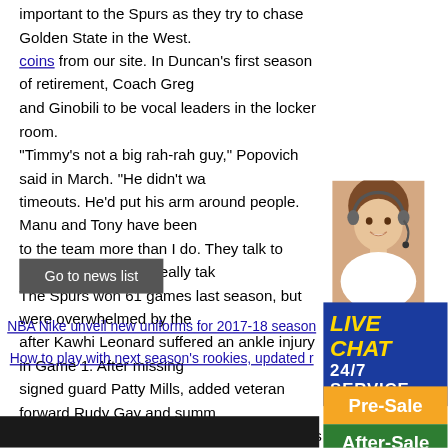important to the Spurs as they try to chase Golden State in the West. coins from our site. In Duncan's first season of retirement, Coach Greg and Ginobili to be vocal leaders in the locker room. "Timmy's not a big rah-rah guy," Popovich said in March. "He didn't wa timeouts. He'd put his arm around people. Manu and Tony have been to the team more than I do. They talk to individuals. They've really tak The Spurs won 61 games last season, but were overwhelmed by the after Kawhi Leonard suffered an ankle injury in Game 1. After missing signed guard Patty Mills, added veteran forward Rudy Gay and summ and are expected to bring back Pau Gasol as well to another ru
Go to news list
NBA Nike unveil new uniforms for 2017-18 season
How to play with next season's rookies, updated r
[Figure (photo): Customer service representative woman wearing headset smiling, with LIVE CHAT and 24/7 SERVICE text overlay on blue background, Pre-Sale button in orange, After-Sale button in green]